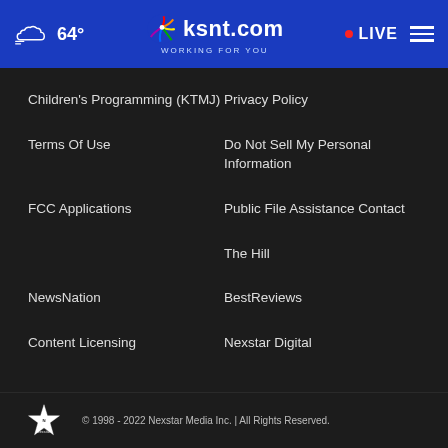64° ksnt.com WORKING FOR YOU • LIVE
Children's Programming (KTMJ)
Privacy Policy
Terms Of Use
Do Not Sell My Personal Information
FCC Applications
Public File Assistance Contact
The Hill
NewsNation
BestReviews
Content Licensing
Nexstar Digital
© 1998 - 2022 Nexstar Media Inc. | All Rights Reserved.